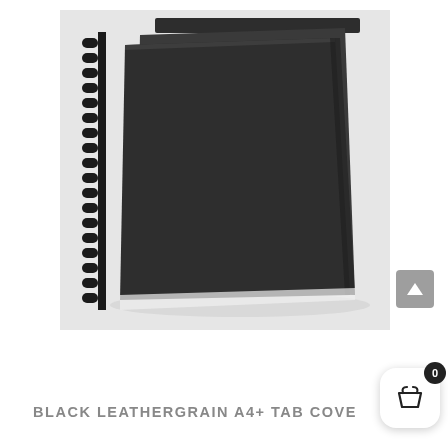[Figure (photo): Black leathergrain A4+ tab cover shown laid flat with a black comb binding spine beside it, on a white background.]
BLACK LEATHERGRAIN A4+ TAB COVER